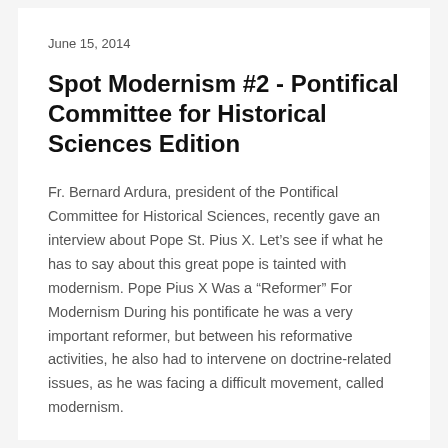June 15, 2014
Spot Modernism #2 - Pontifical Committee for Historical Sciences Edition
Fr. Bernard Ardura, president of the Pontifical Committee for Historical Sciences, recently gave an interview about Pope St. Pius X. Let’s see if what he has to say about this great pope is tainted with modernism. Pope Pius X Was a “Reformer” For Modernism During his pontificate he was a very important reformer, but between his reformative activities, he also had to intervene on doctrine-related issues, as he was facing a difficult movement, called modernism.